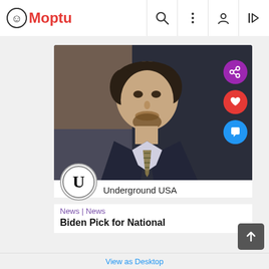Moptu
[Figure (photo): Man in suit and plaid tie being interviewed, photo from Underground USA channel]
Underground USA
News | News
Biden Pick for National
View as Desktop